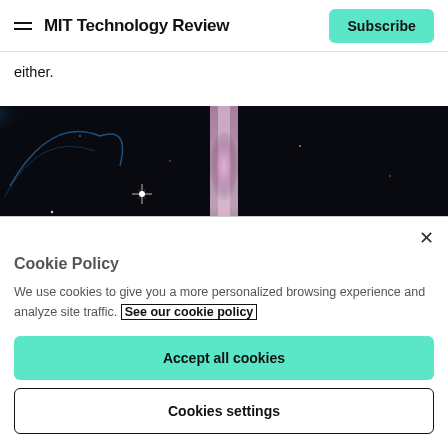MIT Technology Review
either.
[Figure (photo): Space/astronomy photograph showing a dark sky with a bright vertical pink/purple light streak in the center, a bright star with diffraction spikes on the left side, faint blue nebula structures on the upper left, and a reddish-brown nebula region in the lower right.]
Cookie Policy
We use cookies to give you a more personalized browsing experience and analyze site traffic. See our cookie policy
Accept all cookies
Cookies settings